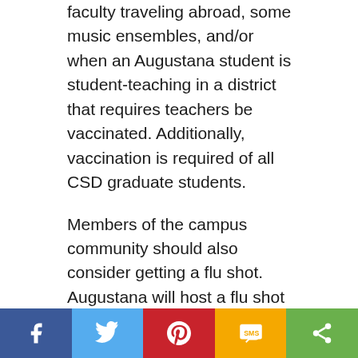faculty traveling abroad, some music ensembles, and/or when an Augustana student is student-teaching in a district that requires teachers be vaccinated. Additionally, vaccination is required of all CSD graduate students.
Members of the campus community should also consider getting a flu shot. Augustana will host a flu shot clinic in the coming weeks, though a date has not been set.
If  you test positive
Report positive COVID-19 test results. Any
[Figure (infographic): Social share bar with five buttons: Facebook (blue), Twitter (light blue), Pinterest (red), SMS (yellow/amber), and Share/More (green), each showing the respective icon in white.]